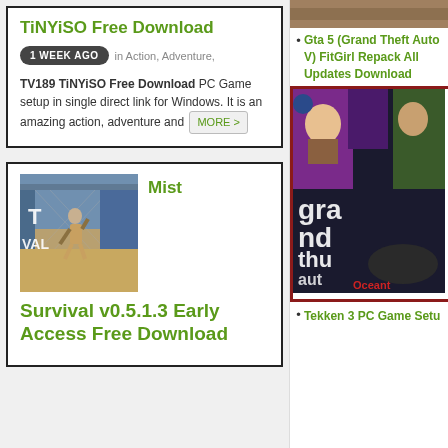TiNYiSO Free Download
1 WEEK AGO in Action, Adventure,
TV189 TiNYiSO Free Download PC Game setup in single direct link for Windows. It is an amazing action, adventure and MORE >
[Figure (photo): Game screenshot showing a running character in a sandy outdoor area with chain-link fence and blue wall background. Text overlays show 'T' and 'VAL']
Mist Survival v0.5.1.3 Early Access Free Download
[Figure (photo): Top banner image partial view]
Gta 5 (Grand Theft Auto V) FitGirl Repack All Updates Download
[Figure (photo): GTA 5 (Grand Theft Auto V) game cover art showing collage of characters, game title text, and Oceantime branding at bottom]
Tekken 3 PC Game Setu